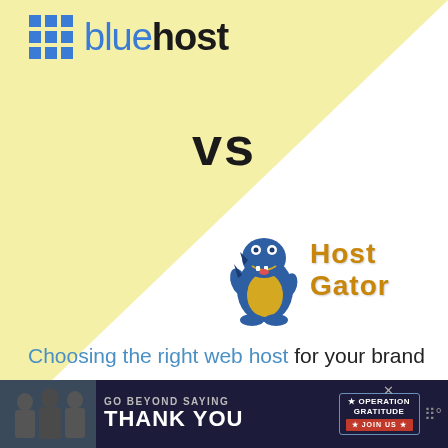[Figure (logo): Bluehost logo with blue grid icon and 'bluehost' text in blue and black]
vs
[Figure (logo): HostGator logo with cartoon blue alligator mascot and 'Host Gator' text in gold/orange]
Choosing the right web host for your brand new website can be nerve-wracking. And when it comes to choosing between two web hosting giants like Bluehost vs HostGator, you have to do your homework.
[Figure (screenshot): Ad banner: 'GO BEYOND SAYING THANK YOU' - Operation Gratitude JOIN US advertisement with dark background]